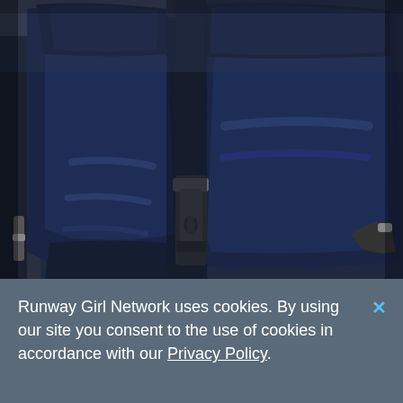[Figure (photo): Close-up photo of dark navy blue leather aircraft seats with cushioned backrests and a metal armrest/tray mechanism visible between the seats. The seats appear to be from a commercial aircraft interior.]
Runway Girl Network uses cookies. By using our site you consent to the use of cookies in accordance with our Privacy Policy.